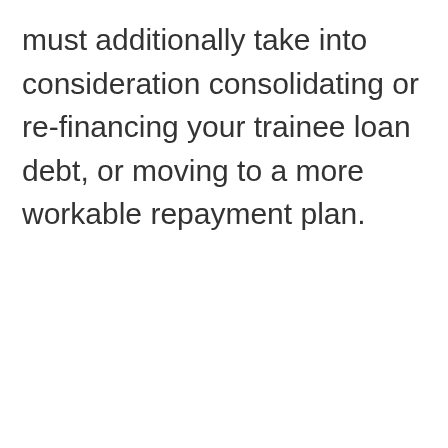must additionally take into consideration consolidating or re-financing your trainee loan debt, or moving to a more workable repayment plan.